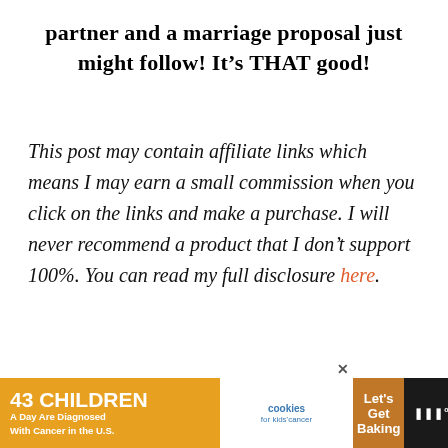partner and a marriage proposal just might follow! It's THAT good!
This post may contain affiliate links which means I may earn a small commission when you click on the links and make a purchase. I will never recommend a product that I don't support 100%. You can read my full disclosure here.
[Figure (photo): Cast iron skillet with fresh basil leaves on a white surface]
[Figure (infographic): Advertisement banner: 43 Children A Day Are Diagnosed With Cancer in the U.S. — Cookies for Kids Cancer — Let's Get Baking]